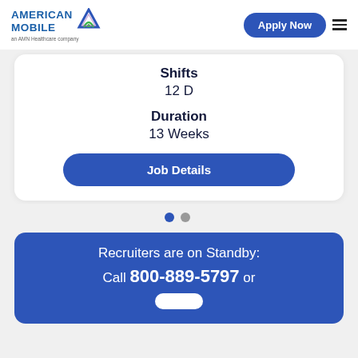[Figure (logo): American Mobile logo with AMN Healthcare company tagline and colorful arrow icon]
Apply Now
Shifts
12 D
Duration
13 Weeks
Job Details
Recruiters are on Standby:
Call 800-889-5797 or